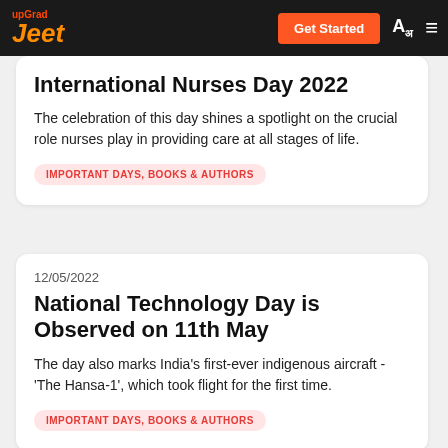upGrad Jeet | Get Started
International Nurses Day 2022
The celebration of this day shines a spotlight on the crucial role nurses play in providing care at all stages of life.
IMPORTANT DAYS, BOOKS & AUTHORS
12/05/2022
National Technology Day is Observed on 11th May
The day also marks India's first-ever indigenous aircraft - 'The Hansa-1', which took flight for the first time.
IMPORTANT DAYS, BOOKS & AUTHORS